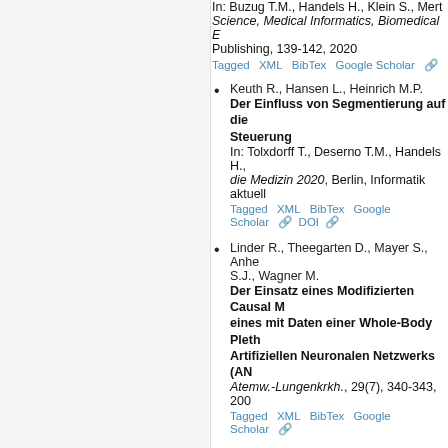In: Buzug T.M., Handels H., Klein S., Mert... Science, Medical Informatics, Biomedical Engineering Publishing, 139-142, 2020. Tagged XML BibTex Google Scholar
Keuth R., Hansen L., Heinrich M.P. Der Einfluss von Segmentierung auf die... Steuerung In: Tolxdorff T., Deserno T.M., Handels H., ...die Medizin 2020, Berlin, Informatik aktuell... Tagged XML BibTex Google Scholar DOI
Linder R., Theegarten D., Mayer S., Anher... S.J., Wagner M. Der Einsatz eines Modifizierten Causal ... eines mit Daten einer Whole-Body Pleth... Artifiziellen Neuronalen Netzwerks (AN... Atemw.-Lungenkrkh., 29(7), 340-343, 200... Tagged XML BibTex Google Scholar
Pommerening K., Deserno T.M., Ingenerf J... Der Impact der Medizinischen Informati... Informatik-Spektrum, 38, 5, 347-369, 2015. Tagged XML BibTex Google Scholar DOI
Wiedekopf J., Ulrich H., Essenwanger A., ... Desiderata for a Synthetic Clinical Data... Perspective Studies in Health Technology and Informa... Tagged XML BibTex Google Scholar DOI
Grohmann C., Werner R., Mackens-Kiani T... Design of a 4D Quality Assurance Motio...